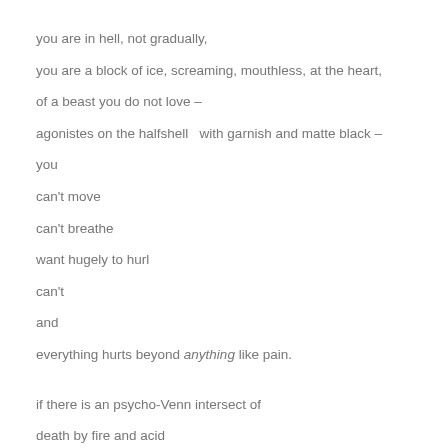you are in hell, not gradually,
you are a block of ice, screaming, mouthless, at the heart,
of a beast you do not love –
agonistes on the halfshell  with garnish and matte black –
you
can't move
can't breathe
want hugely to hurl
can't
and
everything hurts beyond anything like pain.
if there is an psycho-Venn intersect of
death by fire and acid
death by crushing and drowning
death by despair and claustrophobic hysteria